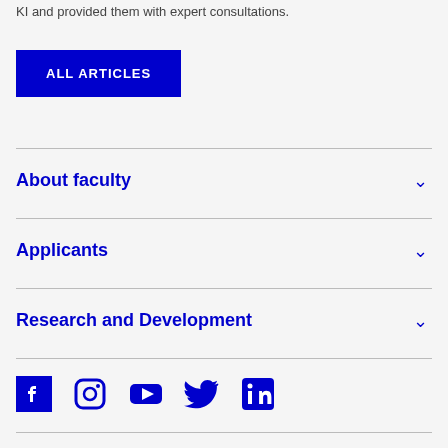KI and provided them with expert consultations.
ALL ARTICLES
About faculty
Applicants
Research and Development
[Figure (infographic): Social media icons: Facebook, Instagram, YouTube, Twitter, LinkedIn in blue]